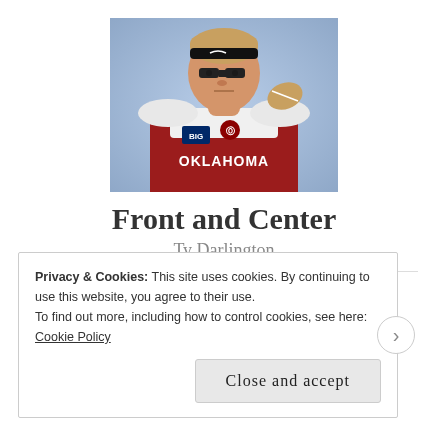[Figure (photo): Oklahoma Sooners football player wearing red jersey with Big 12 logo, black eye paint, and Nike headband, holding a football]
Front and Center
Ty Darlington
Privacy & Cookies: This site uses cookies. By continuing to use this website, you agree to their use. To find out more, including how to control cookies, see here: Cookie Policy
Close and accept